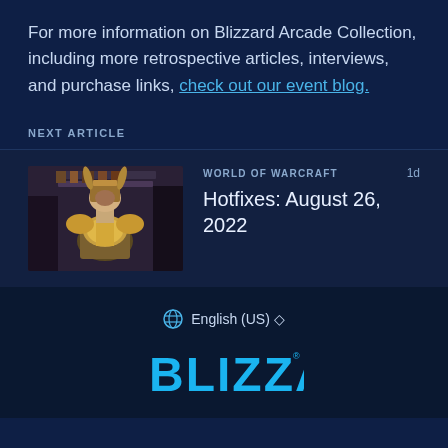For more information on Blizzard Arcade Collection, including more retrospective articles, interviews, and purchase links, check out our event blog.
NEXT ARTICLE
[Figure (screenshot): World of Warcraft article thumbnail showing an armored character with horned helmet in a dungeon setting]
WORLD OF WARCRAFT  1d
Hotfixes: August 26, 2022
English (US) ◇
[Figure (logo): Blizzard logo in bright blue stylized font]